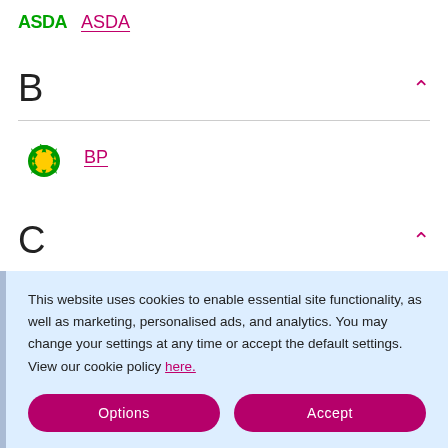[Figure (logo): ASDA logo in green text and ASDA brand name link in magenta/pink]
B
[Figure (logo): BP logo - green/yellow sunburst with bp text]
BP
C
[Figure (logo): Certas Energy logo - blue globe with certas text]
Certas Energy
This website uses cookies to enable essential site functionality, as well as marketing, personalised ads, and analytics. You may change your settings at any time or accept the default settings. View our cookie policy here.